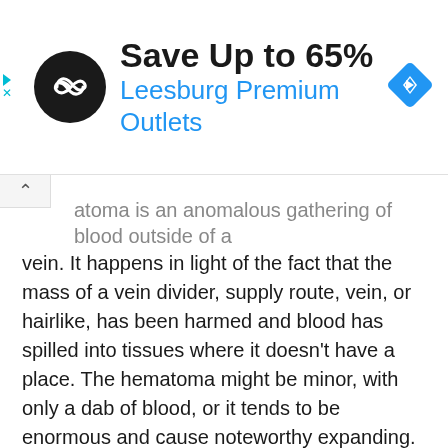[Figure (infographic): Advertisement banner: Black circle logo with infinity/loop icon, 'Save Up to 65%' in bold black text, 'Leesburg Premium Outlets' in blue text, blue diamond navigation icon on right. Left edge shows cyan play arrow and X (ad controls).]
atoma is an anomalous gathering of blood outside of a vein. It happens in light of the fact that the mass of a vein divider, supply route, vein, or hairlike, has been harmed and blood has spilled into tissues where it doesn't have a place. The hematoma might be minor, with only a dab of blood, or it tends to be enormous and cause noteworthy expanding.
The veins in the body are under steady fix. Minor wounds happen routinely and the body is normally ready to fix the harmed vessel divider by enacting the blood thickening course and shaping fibrin patches. Now and then the fix comes up short if the harm is broad and the huge deformity takes into account kept dying. On the off chance that there is incredible weight inside the vein, for instance, a significant corridor, the blood will keep on spilling through the harmed divider and the hematoma will extend.